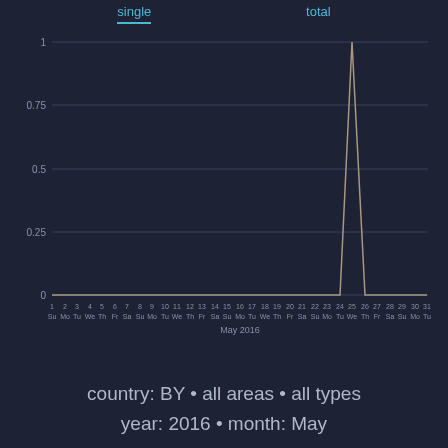single   total
[Figure (line-chart): May 2016]
country: BY • all areas • all types
year: 2016 • month: May